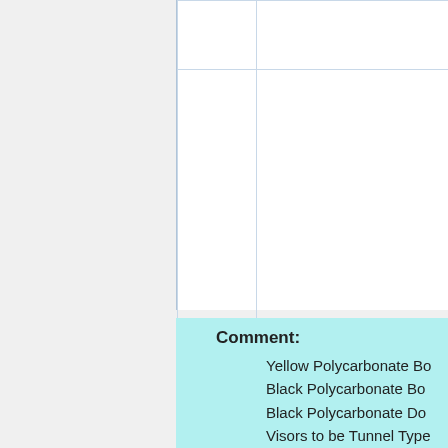|  |  |
|  | Peek Traffic ↗ |
Comment:
Yellow Polycarbonate Bo...
Black Polycarbonate Bo...
Black Polycarbonate Do...
Visors to be Tunnel Type...
LED retrofit
12" Sections